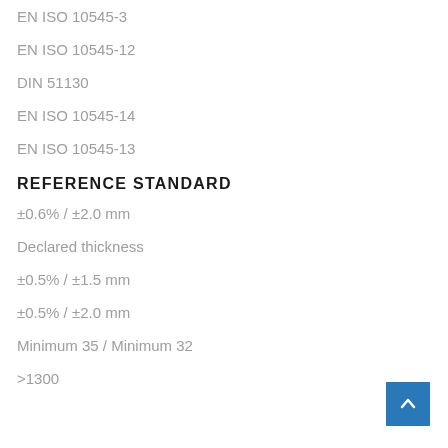EN ISO 10545-3
EN ISO 10545-12
DIN 51130
EN ISO 10545-14
EN ISO 10545-13
REFERENCE STANDARD
±0.6% / ±2.0 mm
Declared thickness
±0.5% / ±1.5 mm
±0.5% / ±2.0 mm
Minimum 35 / Minimum 32
>1300